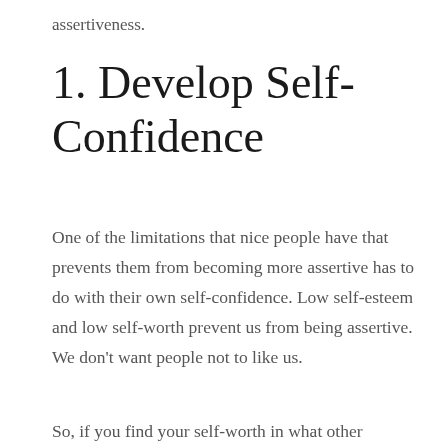assertiveness.
1. Develop Self-Confidence
One of the limitations that nice people have that prevents them from becoming more assertive has to do with their own self-confidence. Low self-esteem and low self-worth prevent us from being assertive. We don’t want people not to like us.
So, if you find your self-worth in what other